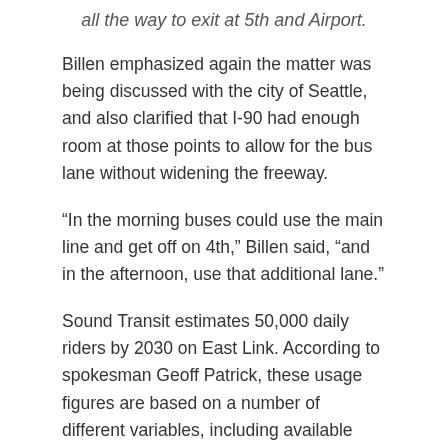all the way to exit at 5th and Airport.
Billen emphasized again the matter was being discussed with the city of Seattle, and also clarified that I-90 had enough room at those points to allow for the bus lane without widening the freeway.
“In the morning buses could use the main line and get off on 4th,” Billen said, “and in the afternoon, use that additional lane.”
Sound Transit estimates 50,000 daily riders by 2030 on East Link. According to spokesman Geoff Patrick, these usage figures are based on a number of different variables, including available and possible parking spaces, population, urban density, and so on. The total budget is estimated at $2.8 billion (in 2010